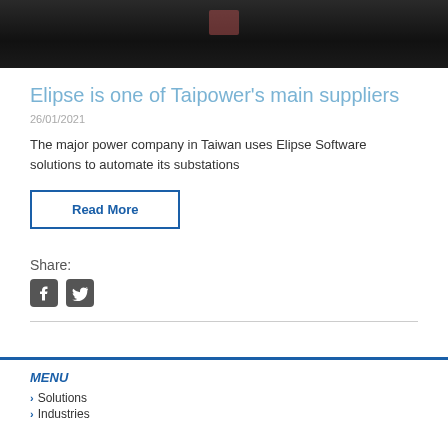[Figure (photo): Hero image with dark background showing a building or structure at night]
Elipse is one of Taipower's main suppliers
26/01/2021
The major power company in Taiwan uses Elipse Software solutions to automate its substations
Read More
Share:
[Figure (illustration): Facebook and Twitter social media icons]
MENU
Solutions
Industries